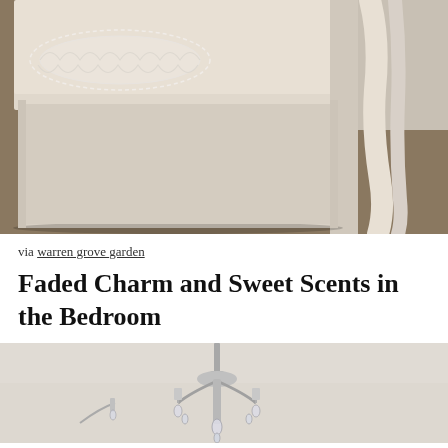[Figure (photo): A white painted wooden storage trunk/chest at the foot of a bed, with a white lace doily on top and a white towel or robe draped over the bed behind it. The floor is dark wood.]
via warren grove garden
Faded Charm and Sweet Scents in the Bedroom
[Figure (photo): A crystal chandelier hanging from a cream-colored ceiling, photographed from below at close range. The chandelier has metal arms and glass crystal drops.]